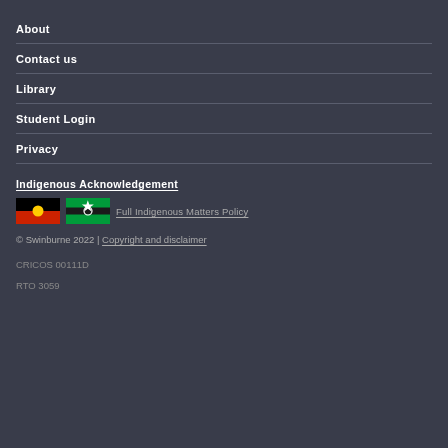About
Contact us
Library
Student Login
Privacy
Indigenous Acknowledgement
[Figure (illustration): Aboriginal flag and Torres Strait Islander flag side by side]
Full Indigenous Matters Policy
© Swinburne 2022 | Copyright and disclaimer
CRICOS 00111D
RTO 3059